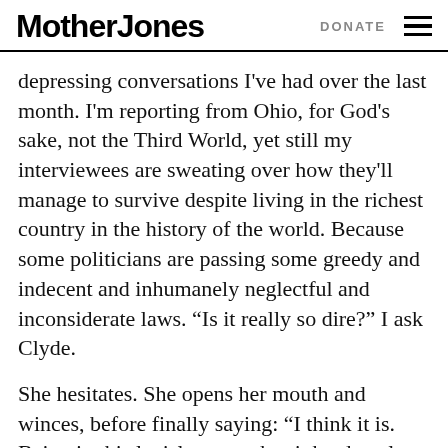Mother Jones  DONATE
depressing conversations I've had over the last month. I'm reporting from Ohio, for God's sake, not the Third World, yet still my interviewees are sweating over how they'll manage to survive despite living in the richest country in the history of the world. Because some politicians are passing some greedy and indecent and inhumanely neglectful and inconsiderate laws. “Is it really so dire?” I ask Clyde.
She hesitates. She opens her mouth and winces, before finally saying: “I think it is. Being in this legislature makes it hard to sleep at night.”
On a Wednesday in late June, Wisconsin Gov